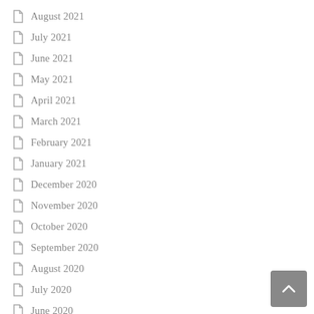August 2021
July 2021
June 2021
May 2021
April 2021
March 2021
February 2021
January 2021
December 2020
November 2020
October 2020
September 2020
August 2020
July 2020
June 2020
May 2020